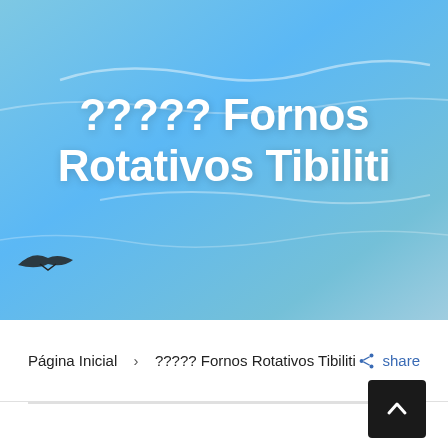[Figure (photo): Blue sky with clouds background with bird silhouette in lower left, overlaid with large white bold text]
????? Fornos Rotativos Tibiliti
Página Inicial > ????? Fornos Rotativos Tibiliti   share